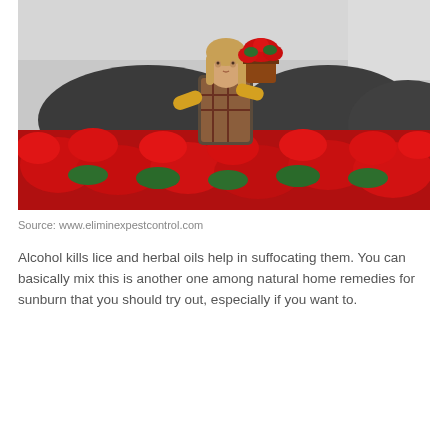[Figure (photo): A woman with yellow gloves examining a red poinsettia plant in a greenhouse surrounded by many red poinsettia flowers and dark rounded structures in the background.]
Source: www.eliminexpestcontrol.com
Alcohol kills lice and herbal oils help in suffocating them. You can basically mix this is another one among natural home remedies for sunburn that you should try out, especially if you want to.